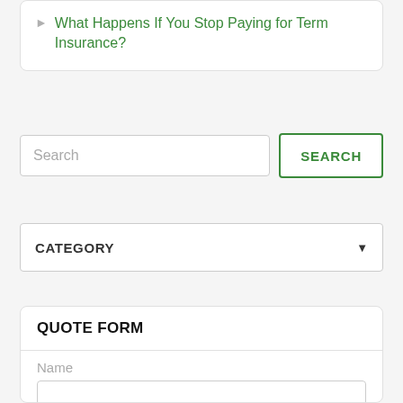What Happens If You Stop Paying for Term Insurance?
Search [input field]
SEARCH [button]
CATEGORY [dropdown]
QUOTE FORM
Name [input field]